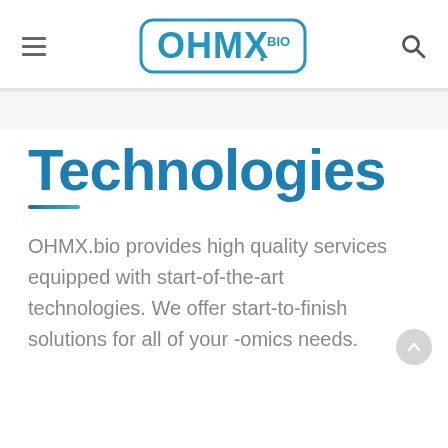OHMX.BIO — navigation header with hamburger menu, logo, and search icon
Technologies
OHMX.bio provides high quality services equipped with start-of-the-art technologies. We offer start-to-finish solutions for all of your -omics needs.